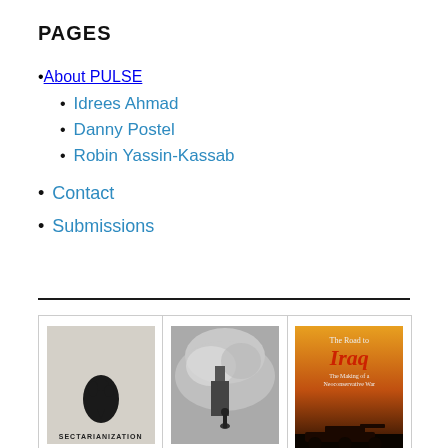PAGES
About PULSE
Idrees Ahmad
Danny Postel
Robin Yassin-Kassab
Contact
Submissions
[Figure (illustration): Three book covers displayed side by side: 'Sectarianization' with a map silhouette on grey background; a photo of an explosion with a figure silhouetted in smoke; 'The Road to Iraq: The Making of a Neoconservative War' with orange/sunset cover.]